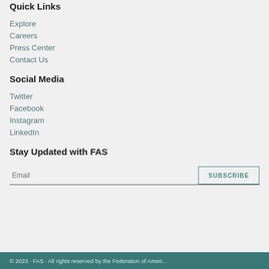Quick Links
Explore
Careers
Press Center
Contact Us
Social Media
Twitter
Facebook
Instagram
LinkedIn
Stay Updated with FAS
Email  SUBSCRIBE
© 2023 · FAS · All rights reserved by the Federation of Ameri...